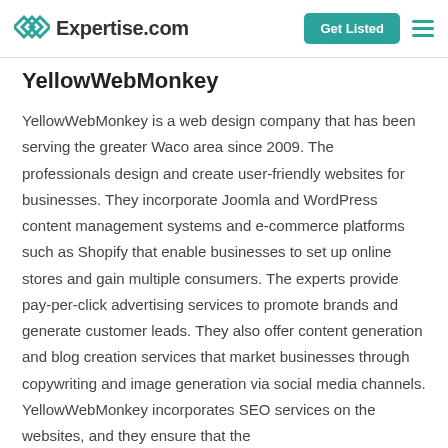Expertise.com  Get Listed
YellowWebMonkey
YellowWebMonkey is a web design company that has been serving the greater Waco area since 2009. The professionals design and create user-friendly websites for businesses. They incorporate Joomla and WordPress content management systems and e-commerce platforms such as Shopify that enable businesses to set up online stores and gain multiple consumers. The experts provide pay-per-click advertising services to promote brands and generate customer leads. They also offer content generation and blog creation services that market businesses through copywriting and image generation via social media channels. YellowWebMonkey incorporates SEO services on the websites, and they ensure that the